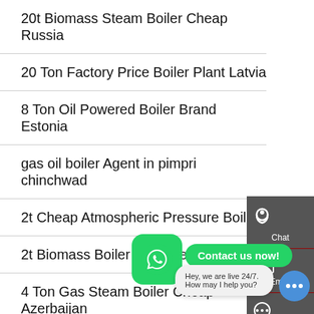20t Biomass Steam Boiler Cheap Russia
20 Ton Factory Price Boiler Plant Latvia
8 Ton Oil Powered Boiler Brand Estonia
gas oil boiler Agent in pimpri chinchwad
2t Cheap Atmospheric Pressure Boiler
2t Biomass Boiler Plant Seller Russia
4 Ton Gas Steam Boiler Cheap Azerbaijan
Water Steam Boilers 1 5tph
8t Biomass Boiler
6 Ton Gas Boiler Plant Georgia